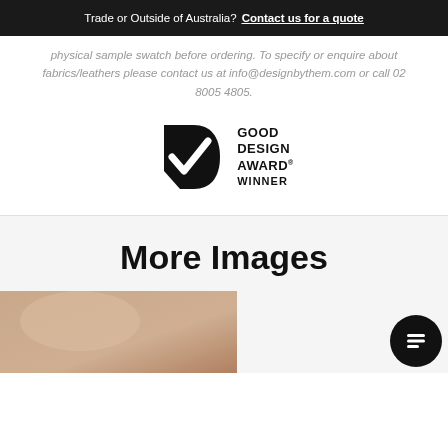Trade or Outside of Australia? Contact us for a quote
physical sample swatch before ordering. To specify or enquire about fabrics/leathers please contact us at info@designbythem.com or call 02 8005 4805.
[Figure (logo): Good Design Award Winner logo — black checkmark-D icon with text GOOD DESIGN AWARD WINNER]
More Images
[Figure (photo): Partial view of a beige/tan upholstered furniture item]